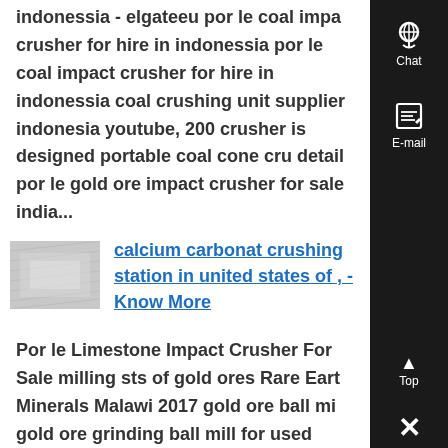indonessia - elgateeu por le coal impact crusher for hire in indonessia por le coal impact crusher for hire in indonessia coal crushing unit supplier indonesia youtube, 200 crusher is designed portable coal cone cru detail por le gold ore impact crusher for sale india...
[Figure (photo): Thumbnail image of a crushing or mining facility, grayscale]
calcium carbonat crushing station in united states of , - Know More
Por le Limestone Impact Crusher For Sale milling sts of gold ores Rare Earth Minerals Malawi 2017 gold ore ball mi gold ore grinding ball mill for used